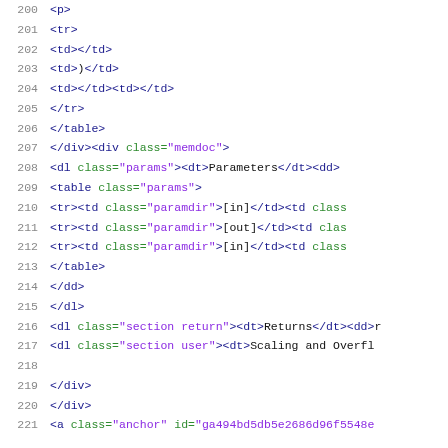Source code listing lines 200-221, HTML document structure with syntax highlighting
200   <p>
201     <tr>
202       <td></td>
203       <td>)</td>
204       <td></td><td></td>
205     </tr>
206     </table>
207   </div><div class="memdoc">
208   <dl class="params"><dt>Parameters</dt><dd>
209     <table class="params">
210       <tr><td class="paramdir">[in]</td><td class=
211       <tr><td class="paramdir">[out]</td><td clas
212       <tr><td class="paramdir">[in]</td><td class
213     </table>
214     </dd>
215   </dl>
216   <dl class="section return"><dt>Returns</dt><dd>
217   <dl class="section user"><dt>Scaling and Overfl
218
219   </div>
220   </div>
221   <a class="anchor" id="ga494bd5db5e2686d96f5548e